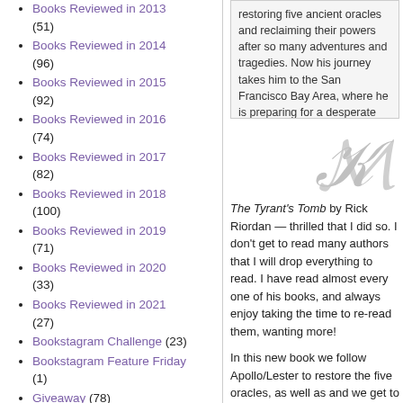Books Reviewed in 2013 (51)
Books Reviewed in 2014 (96)
Books Reviewed in 2015 (92)
Books Reviewed in 2016 (74)
Books Reviewed in 2017 (82)
Books Reviewed in 2018 (100)
Books Reviewed in 2019 (71)
Books Reviewed in 2020 (33)
Books Reviewed in 2021 (27)
Bookstagram Challenge (23)
Bookstagram Feature Friday (1)
Giveaway (78)
Monthly TBR (83)
Monthly Wrap Up (56)
Most Anticipated Monthly
restoring five ancient oracles and reclaiming their powers after so many adventures and tragedies. Now his journey takes him to the San Francisco Bay Area, where he is preparing for a desperate last stand against the evil Triumvirate. Unfortunately, many other old friends will need Apollo's help, including a stop at the long-forgotten tomb of a Roman ruler . . . som
[Figure (illustration): Decorative cursive/calligraphic symbol in gray]
The Tyrant's Tomb by Rick Riordan — thrilled that I did so. I don't get to read many authors that I will drop everything to read. I have read almost every one of his books, and always enjoy taking the time to re-read them, wanting more!

In this new book we follow Apollo/Lester to restore the five oracles, as well as and we get to see all the friends we have caught up with these characters, even the gave us a little glance into their w